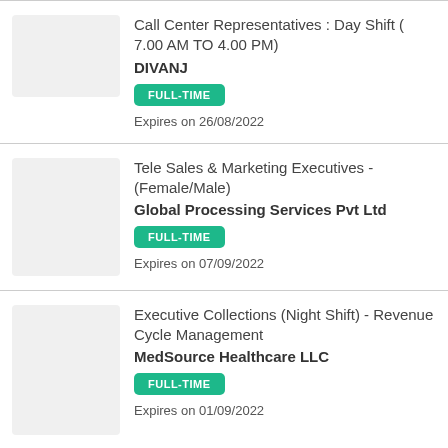Call Center Representatives : Day Shift ( 7.00 AM TO 4.00 PM)
DIVANJ
FULL-TIME
Expires on 26/08/2022
Tele Sales & Marketing Executives - (Female/Male)
Global Processing Services Pvt Ltd
FULL-TIME
Expires on 07/09/2022
Executive Collections (Night Shift) - Revenue Cycle Management
MedSource Healthcare LLC
FULL-TIME
Expires on 01/09/2022